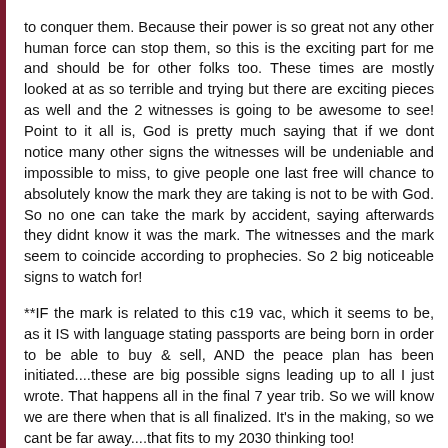to conquer them. Because their power is so great not any other human force can stop them, so this is the exciting part for me and should be for other folks too. These times are mostly looked at as so terrible and trying but there are exciting pieces as well and the 2 witnesses is going to be awesome to see! Point to it all is, God is pretty much saying that if we dont notice many other signs the witnesses will be undeniable and impossible to miss, to give people one last free will chance to absolutely know the mark they are taking is not to be with God. So no one can take the mark by accident, saying afterwards they didnt know it was the mark. The witnesses and the mark seem to coincide according to prophecies. So 2 big noticeable signs to watch for!
**IF the mark is related to this c19 vac, which it seems to be, as it IS with language stating passports are being born in order to be able to buy & sell, AND the peace plan has been initiated....these are big possible signs leading up to all I just wrote. That happens all in the final 7 year trib. So we will know we are there when that is all finalized. It's in the making, so we cant be far away....that fits to my 2030 thinking too!